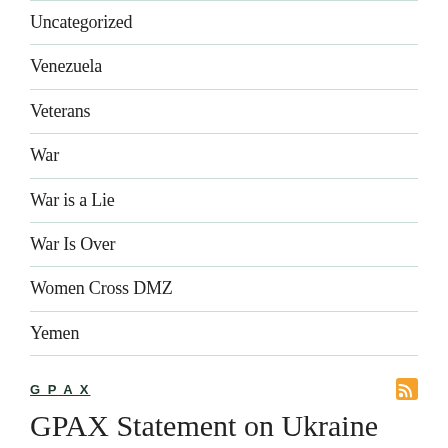Uncategorized
Venezuela
Veterans
War
War is a Lie
War Is Over
Women Cross DMZ
Yemen
GPAX
GPAX Statement on Ukraine